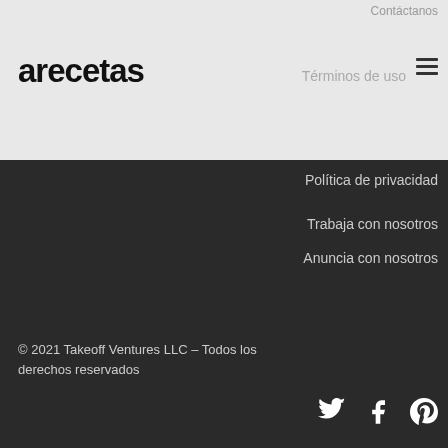Contáctanos
arecetas
Términos de uso
Política de privacidad
Trabaja con nosotros
Anuncia con nosotros
© 2021 Takeoff Ventures LLC – Todos los derechos reservados
[Figure (other): Social media icons: Twitter, Facebook, Pinterest]